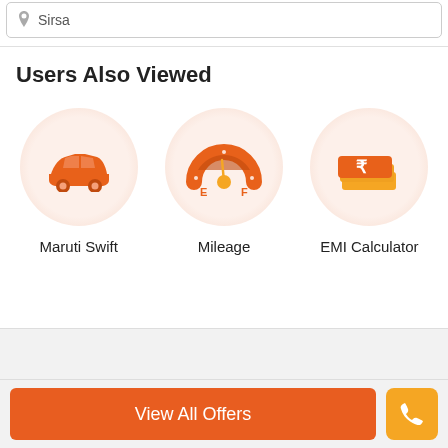Sirsa
Users Also Viewed
[Figure (illustration): Three circular icons: a car (Maruti Swift), a fuel gauge (Mileage), and a stack of rupee notes (EMI Calculator)]
Maruti Swift
Mileage
EMI Calculator
View All Offers